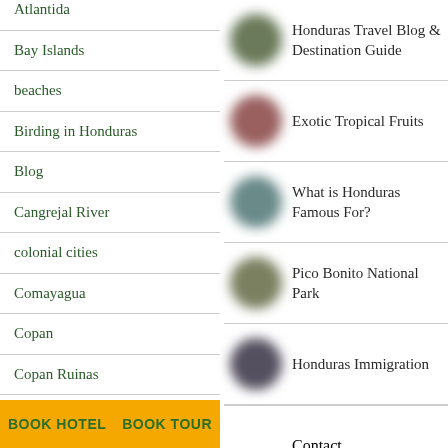Atlantida
Bay Islands
beaches
Birding in Honduras
Blog
Cangrejal River
colonial cities
Comayagua
Copan
Copan Ruinas
Covid-19
Destinations
[Figure (illustration): Blurred circular image thumbnail - green/olive tones]
Honduras Travel Blog & Destination Guide
[Figure (illustration): Blurred circular image thumbnail - red/rose tones]
Exotic Tropical Fruits
[Figure (illustration): Blurred circular image thumbnail - teal tones]
What is Honduras Famous For?
[Figure (illustration): Blurred circular image thumbnail - olive/green tones]
Pico Bonito National Park
[Figure (illustration): Blurred circular image thumbnail - dark grey/purple tones]
Honduras Immigration
Contact